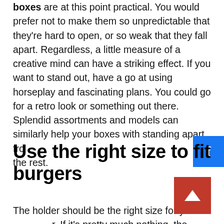boxes are at this point practical. You would prefer not to make them so unpredictable that they're hard to open, or so weak that they fall apart. Regardless, a little measure of a creative mind can have a striking effect. If you want to stand out, have a go at using horseplay and fascinating plans. You could go for a retro look or something out there. Splendid assortments and models can similarly help your boxes with standing apart from the rest.
Use the right size to fit burgers
The holder should be the right size for your r. If it's pretty much nothing, the burger will quitter. Accepting it's too tremendous, the burger will look